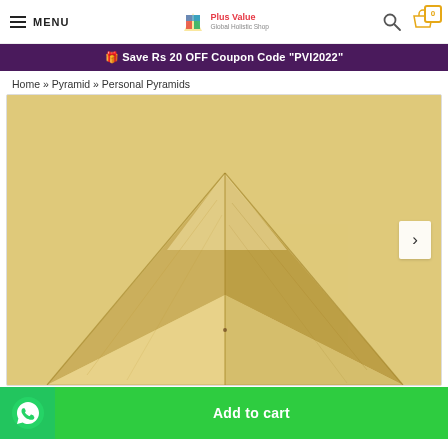MENU | Plus Value Global Holistic Shop | Search | Cart (0)
🎁 Save Rs 20 OFF  Coupon Code "PVI2022"
Home » Pyramid » Personal Pyramids
[Figure (photo): Close-up photo of a wooden pyramid showing the apex and four triangular facets with wood grain texture]
Add to cart